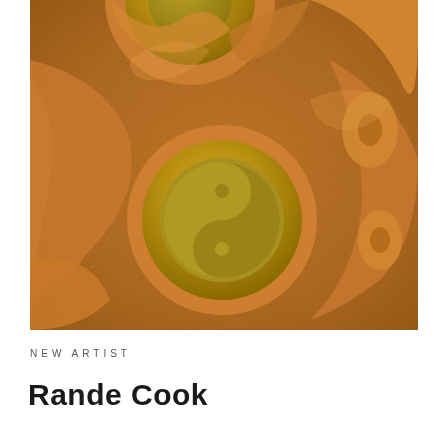[Figure (photo): Close-up photograph of a decorative carved artwork featuring copper-brown and golden-yellow tones. The piece shows organic flowing forms with a prominent yin-yang symbol rendered in olive/golden yellow set within a circular frame. The background has a textured copper metallic surface with curved flowing shapes. Another partial circle with yellow is visible in the upper portion.]
NEW ARTIST
Rande Cook